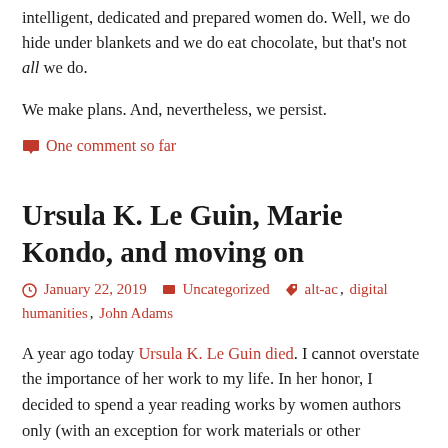intelligent, dedicated and prepared women do. Well, we do hide under blankets and we do eat chocolate, but that's not all we do.
We make plans. And, nevertheless, we persist.
One comment so far
Ursula K. Le Guin, Marie Kondo, and moving on
January 22, 2019   Uncategorized   alt-ac, digital humanities, John Adams
A year ago today Ursula K. Le Guin died. I cannot overstate the importance of her work to my life. In her honor, I decided to spend a year reading works by women authors only (with an exception for work materials or other